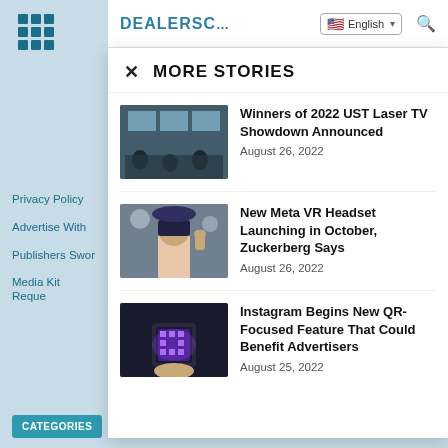[Figure (screenshot): Website screenshot showing a news portal with a More Stories overlay panel, sidebar navigation, and header with language selector.]
MORE STORIES
Winners of 2022 UST Laser TV Showdown Announced
August 26, 2022
New Meta VR Headset Launching in October, Zuckerberg Says
August 26, 2022
Instagram Begins New QR-Focused Feature That Could Benefit Advertisers
August 25, 2022
Privacy Policy
Advertise With
Publishers Swor
Media Kit Reque